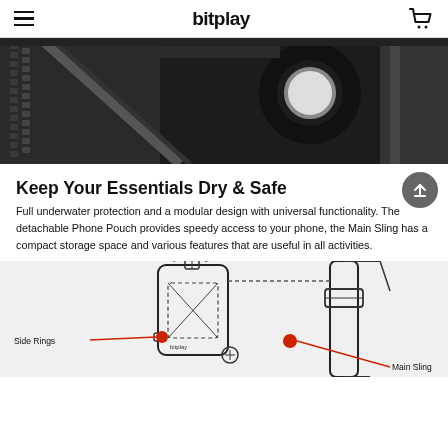bitplay
[Figure (photo): Close-up black and white photo of a waterproof zipper closure on a bag, showing a circular ring/loop handle and textured zipper track detail.]
Keep Your Essentials Dry & Safe
Full underwater protection and a modular design with universal functionality. The detachable Phone Pouch provides speedy access to your phone, the Main Sling has a compact storage space and various features that are useful in all activities.
[Figure (illustration): Line drawing diagram of the bitplay sling bag showing labeled components: Side Rings (labeled with red callout line on the left) and Main Sling (labeled with red callout line on the right).]